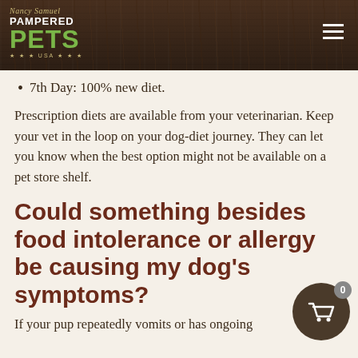Pampered Pets USA
7th Day: 100% new diet.
Prescription diets are available from your veterinarian. Keep your vet in the loop on your dog-diet journey. They can let you know when the best option might not be available on a pet store shelf.
Could something besides food intolerance or allergy be causing my dog's symptoms?
If your pup repeatedly vomits or has ongoing